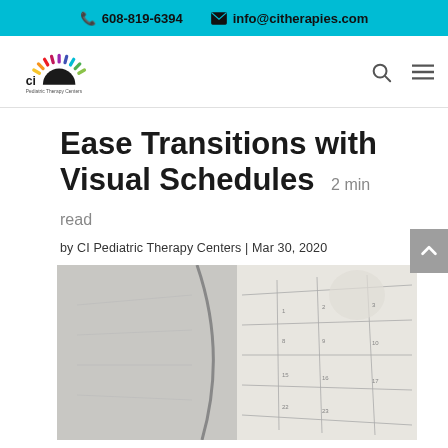📞 608-819-6394  ✉ info@citherapies.com
[Figure (logo): CI Pediatric Therapy Centers logo with colorful sun-ray design]
Ease Transitions with Visual Schedules  2 min read
by CI Pediatric Therapy Centers | Mar 30, 2020
[Figure (photo): Close-up photo of an open planner/calendar book being leafed through]